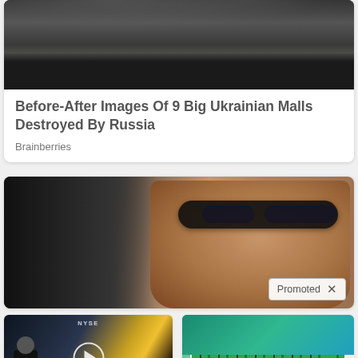[Figure (photo): Burned out building with smoke and firefighters, Ukrainian mall destruction]
Before-After Images Of 9 Big Ukrainian Malls Destroyed By Russia
Brainberries
[Figure (photo): Woman wearing sunglasses smiling, promoted content]
[Figure (screenshot): Video thumbnail showing man at NYSE with play button overlay]
Biden Likely Wants This Video ERASED — 3rd US Currency "Earthquake" Has Started
1,231
[Figure (photo): Dental implant model with green caps]
Think Dental Implants Are Expensive? Think Again (See Prices)
50,103